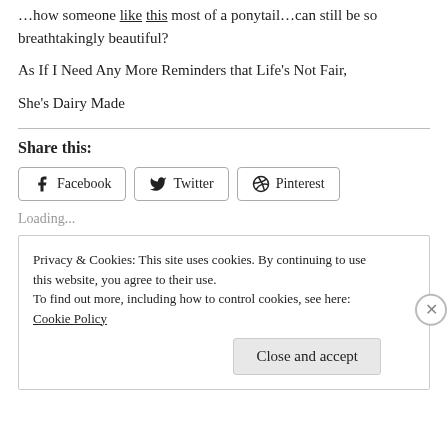…how someone like [link] [link] most of a ponytail…can still be so breathtakingly beautiful?
As If I Need Any More Reminders that Life's Not Fair,
She's Dairy Made
Share this:
Facebook  Twitter  Pinterest
Loading...
Privacy & Cookies: This site uses cookies. By continuing to use this website, you agree to their use.
To find out more, including how to control cookies, see here: Cookie Policy
Close and accept